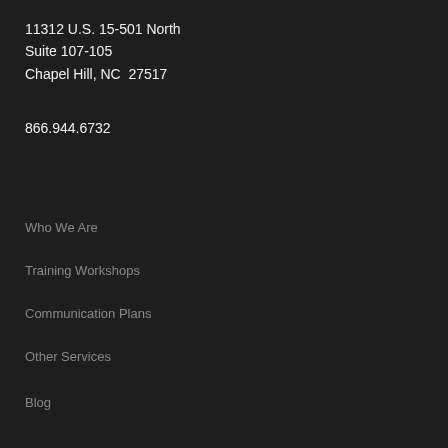11312 U.S. 15-501 North
Suite 107-105
Chapel Hill, NC  27517
866.944.6732
Who We Are
Training Workshops
Communication Plans
Other Services
Blog